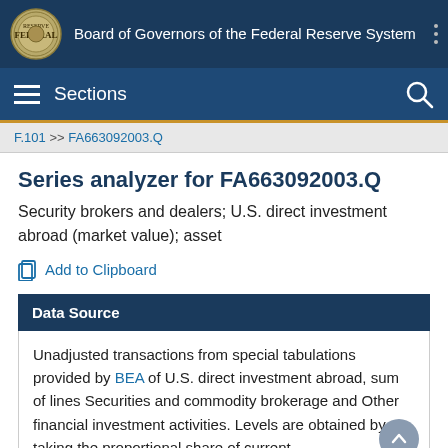Board of Governors of the Federal Reserve System
Sections
F.101 >> FA663092003.Q
Series analyzer for FA663092003.Q
Security brokers and dealers; U.S. direct investment abroad (market value); asset
Add to Clipboard
Data Source
Unadjusted transactions from special tabulations provided by BEA of U.S. direct investment abroad, sum of lines Securities and commodity brokerage and Other financial investment activities. Levels are obtained by taking the proportional share of current